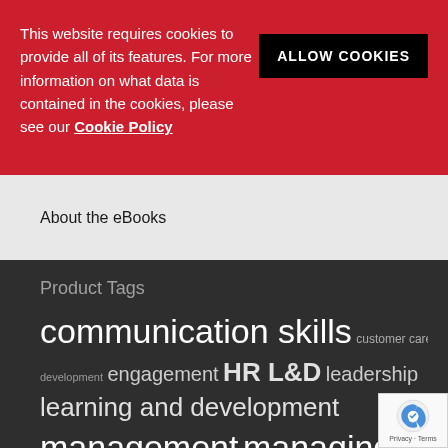This website requires cookies to provide all of its features. For more information on what data is contained in the cookies, please see our Cookie Policy
ALLOW COOKIES
About the eBooks
Product Tags
communication skills  customer care  development  engagement  HR L&D  leadership  learning and development  management  managing  managing people  performance management  planning  resilience  sales and marketing  self development